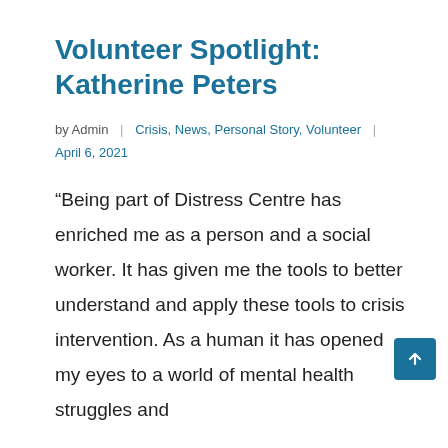Volunteer Spotlight: Katherine Peters
by Admin | Crisis, News, Personal Story, Volunteer | April 6, 2021
“Being part of Distress Centre has enriched me as a person and a social worker. It has given me the tools to better understand and apply these tools to crisis intervention. As a human it has opened my eyes to a world of mental health struggles and